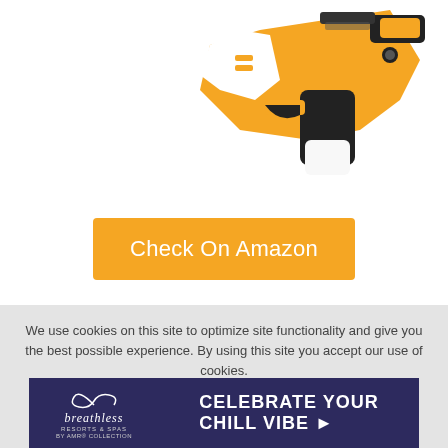[Figure (photo): Orange, white, and black Nerf toy blaster gun shown from the side, partially cropped at the top of the page.]
Check On Amazon
We use cookies on this site to optimize site functionality and give you the best possible experience. By using this site you accept our use of cookies.
[Figure (photo): Advertisement banner for Breathless Resorts & Spas by AMR Collection with dark purple background and text 'CELEBRATE YOUR CHILL VIBE' with a right-pointing arrow.]